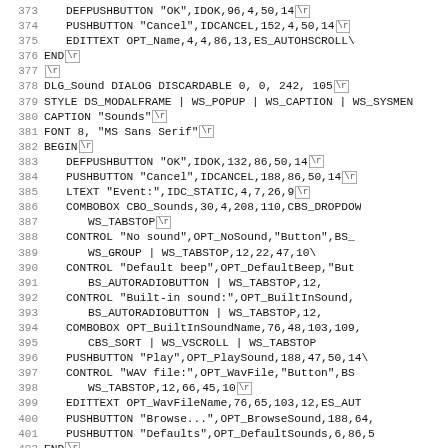Code listing lines 373-405, resource script (.rc) file content showing dialog definitions for DLG_Sound and DLG_GeneralOptions dialogs with controls including DEFPUSHBUTTON, PUSHBUTTON, EDITTEXT, LTEXT, COMBOBOX, CONTROL elements.